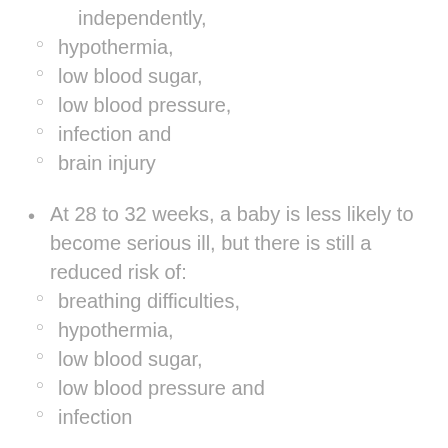independently,
hypothermia,
low blood sugar,
low blood pressure,
infection and
brain injury
At 28 to 32 weeks, a baby is less likely to become serious ill, but there is still a reduced risk of:
breathing difficulties,
hypothermia,
low blood sugar,
low blood pressure and
infection
At 32 to 34 weeks, possible risks still include: